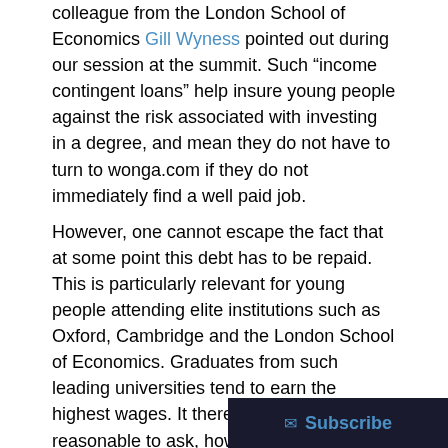colleague from the London School of Economics Gill Wyness pointed out during our session at the summit. Such “income contingent loans” help insure young people against the risk associated with investing in a degree, and mean they do not have to turn to wonga.com if they do not immediately find a well paid job.
However, one cannot escape the fact that at some point this debt has to be repaid. This is particularly relevant for young people attending elite institutions such as Oxford, Cambridge and the London School of Economics. Graduates from such leading universities tend to earn the highest wages. It therefore seems reasonable to ask, how much will attending one of these elite institutions costs?
Unfortunately, this is not an easy question to